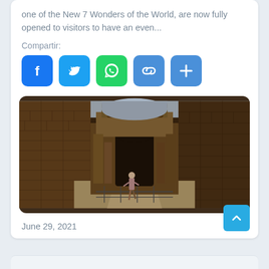one of the New 7 Wonders of the World, are now fully opened to visitors to have an even...
Compartir:
[Figure (infographic): Social media share buttons: Facebook (blue), Twitter (blue), WhatsApp (green), Link (blue), More (blue with plus sign)]
[Figure (photo): Interior of the Colosseum in Rome, showing ancient brick walls, arched passages, and a visitor walking along a metal railing path through the hypogeum area. Sky visible in the background through the open top.]
June 29, 2021